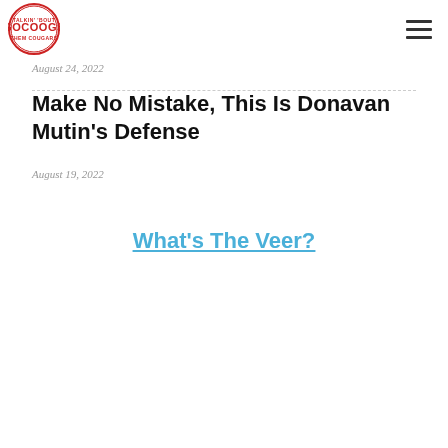GoCOOGS logo and navigation
August 24, 2022
Make No Mistake, This Is Donavan Mutin's Defense
August 19, 2022
What's The Veer?